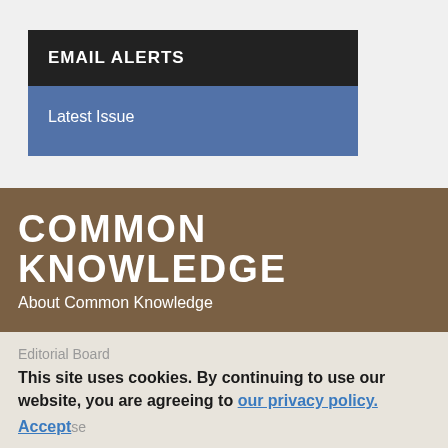EMAIL ALERTS
Latest Issue
COMMON KNOWLEDGE
About Common Knowledge
Editorial Board
This site uses cookies. By continuing to use our website, you are agreeing to our privacy policy.
Accept